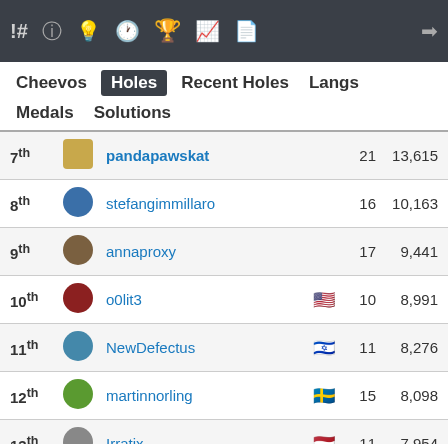Navigation bar with icons: !# ? lightbulb clock trophy chart notebook | login
Cheevos | Holes (active) | Recent Holes | Langs | Medals | Solutions
| Rank | Avatar | Username | Flag | Holes | Score |
| --- | --- | --- | --- | --- | --- |
| 7th |  | pandapawskat |  | 21 | 13,615 |
| 8th |  | stefangimmillaro |  | 16 | 10,163 |
| 9th |  | annaproxy |  | 17 | 9,441 |
| 10th |  | o0lit3 | 🇺🇸 | 10 | 8,991 |
| 11th |  | NewDefectus | 🇮🇱 | 11 | 8,276 |
| 12th |  | martinnorling | 🇸🇪 | 15 | 8,098 |
| 13th |  | Irratix | 🇳🇱 | 11 | 7,954 |
| 14th |  | sisyphus-ppcg | 🇦🇺 | 9 | 7,948 |
| 15th |  | Natanaelel | 🇸🇪 | 17 | 7,480 |
| 16th |  | jacklynnoponick |  | 8 | 5,772 |